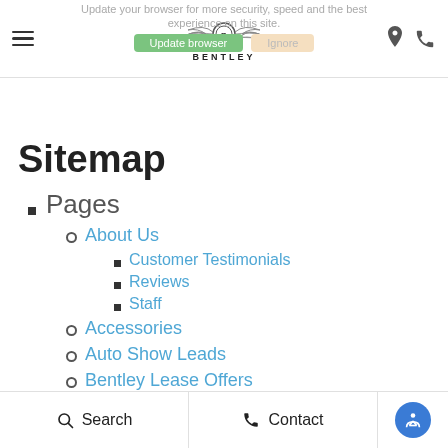Update your browser for more security, speed and the best experience on this site. [Update browser] [Ignore]
[Figure (logo): Bentley wings logo with BENTLEY text below]
Sitemap
Pages
About Us
Customer Testimonials
Reviews
Staff
Accessories
Auto Show Leads
Bentley Lease Offers
Blog
Search   Contact   [Accessibility]